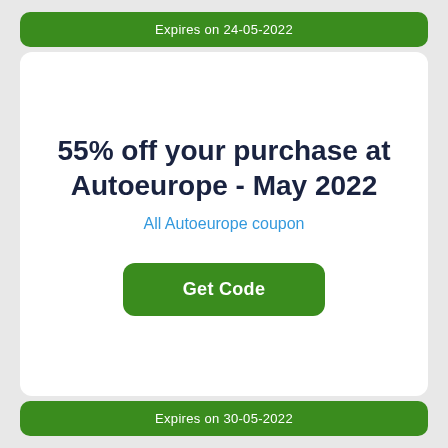Expires on 24-05-2022
55% off your purchase at Autoeurope - May 2022
All Autoeurope coupon
Get Code
Expires on 30-05-2022